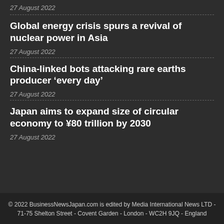27 August 2022
Global energy crisis spurs a revival of nuclear power in Asia
27 August 2022
China-linked bots attacking rare earths producer ‘every day’
27 August 2022
Japan aims to expand size of circular economy to ¥80 trillion by 2030
27 August 2022
© 2022 BusinessNewsJapan.com is edited by Media International News LTD - 71-75 Shelton Street - Covent Garden - London - WC2H 9JQ - England